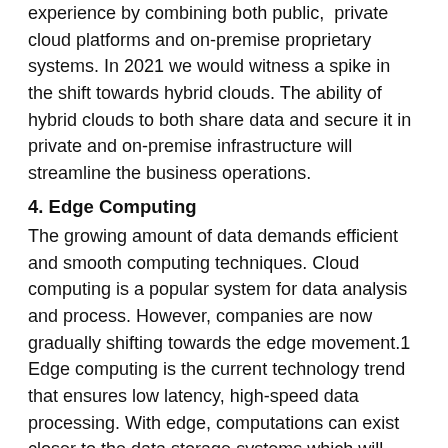experience by combining both public,  private cloud platforms and on-premise proprietary systems. In 2021 we would witness a spike in the shift towards hybrid clouds. The ability of hybrid clouds to both share data and secure it in private and on-premise infrastructure will streamline the business operations.
4. Edge Computing
The growing amount of data demands efficient and smooth computing techniques. Cloud computing is a popular system for data analysis and process. However, companies are now gradually shifting towards the edge movement.1 Edge computing is the current technology trend that ensures low latency, high-speed data processing. With edge, computations can exist closer to the data storage systems which will enhance the functioning of applications. The high bandwidth cost of cloud platforms can be a driving force towards the adoption of edge computing.